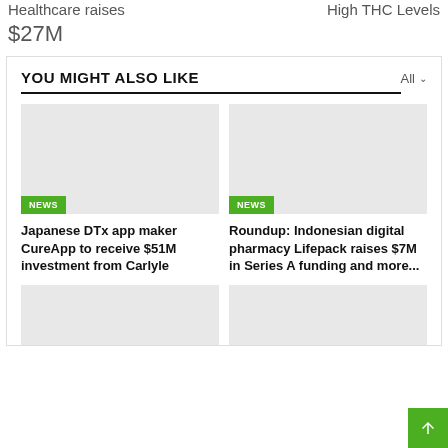Healthcare raises
$27M
High THC Levels
YOU MIGHT ALSO LIKE
All
[Figure (photo): Gray placeholder image with NEWS badge]
Japanese DTx app maker CureApp to receive $51M investment from Carlyle
[Figure (photo): Gray placeholder image with NEWS badge]
Roundup: Indonesian digital pharmacy Lifepack raises $7M in Series A funding and more...
[Figure (photo): Gray placeholder image bottom left]
[Figure (photo): Gray placeholder image bottom right]